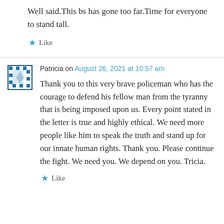Well said.This bs has gone too far.Time for everyone to stand tall.
★ Like
Patricia on August 26, 2021 at 10:57 am
Thank you to this very brave policeman who has the courage to defend his fellow man from the tyranny that is being imposed upon us. Every point stated in the letter is true and highly ethical. We need more people like him to speak the truth and stand up for our innate human rights. Thank you. Please continue the fight. We need you. We depend on you. Tricia.
★ Like